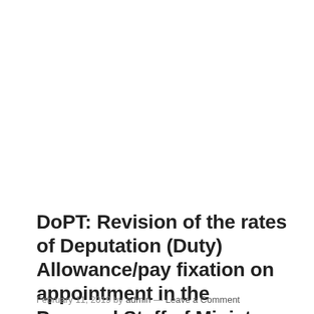DoPT: Revision of the rates of Deputation (Duty) Allowance/pay fixation on appointment in the Personal Staff of Ministers
February 11, 2019 by admin — Leave a Comment